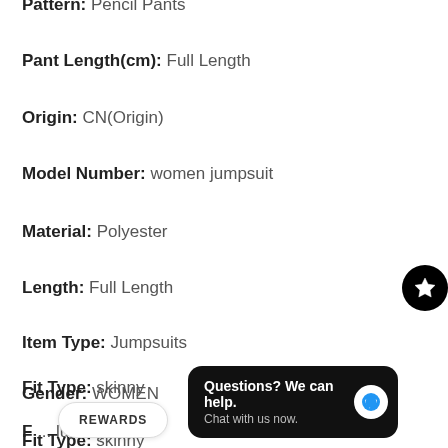Pattern: Pencil Pants
Pant Length(cm): Full Length
Origin: CN(Origin)
Model Number: women jumpsuit
Material: Polyester
Length: Full Length
Item Type: Jumpsuits
Gender: WOMEN
Fit Type: skinny
F... lusive)